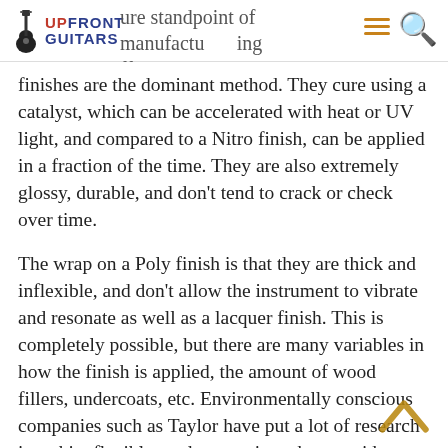Upfront Guitars — pure standpoint of manufacturing efficiency and cost, the more modern Poly
finishes are the dominant method. They cure using a catalyst, which can be accelerated with heat or UV light, and compared to a Nitro finish, can be applied in a fraction of the time. They are also extremely glossy, durable, and don't tend to crack or check over time.
The wrap on a Poly finish is that they are thick and inflexible, and don't allow the instrument to vibrate and resonate as well as a lacquer finish. This is completely possible, but there are many variables in how the finish is applied, the amount of wood fillers, undercoats, etc. Environmentally conscious companies such as Taylor have put a lot of research into thin, flexible modern coatings that provide great